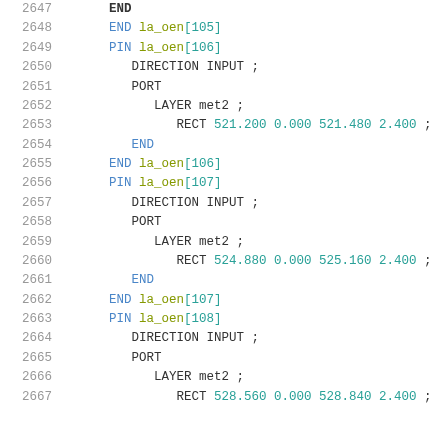2647   END
2648   END la_oen[105]
2649   PIN la_oen[106]
2650     DIRECTION INPUT ;
2651     PORT
2652       LAYER met2 ;
2653         RECT 521.200 0.000 521.480 2.400 ;
2654     END
2655   END la_oen[106]
2656   PIN la_oen[107]
2657     DIRECTION INPUT ;
2658     PORT
2659       LAYER met2 ;
2660         RECT 524.880 0.000 525.160 2.400 ;
2661     END
2662   END la_oen[107]
2663   PIN la_oen[108]
2664     DIRECTION INPUT ;
2665     PORT
2666       LAYER met2 ;
2667         RECT 528.560 0.000 528.840 2.400 ;